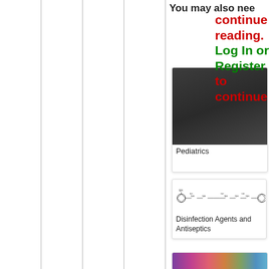You may also need
continue reading. Log In or Register to continue
[Figure (photo): Dark image associated with Pediatrics topic card]
Pediatrics
[Figure (illustration): Chemical structure diagram of a disinfection compound]
Disinfection Agents and Antiseptics
[Figure (photo): Colorful abstract or spectrum image for third topic card]